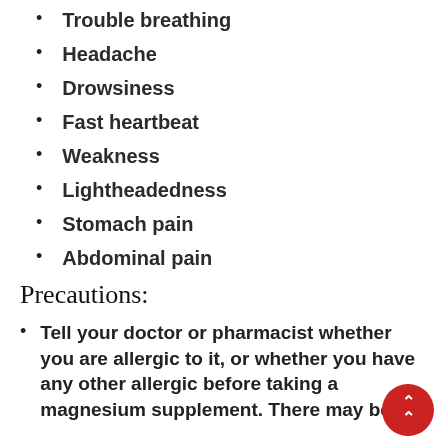Trouble breathing
Headache
Drowsiness
Fast heartbeat
Weakness
Lightheadedness
Stomach pain
Abdominal pain
Precautions:
Tell your doctor or pharmacist whether you are allergic to it, or whether you have any other alle before taking a magnesium supplement. There may be